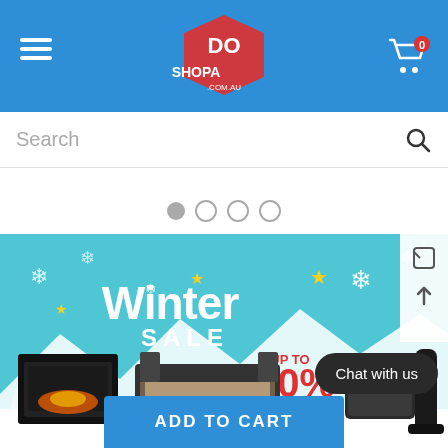[Figure (logo): ShopaDo .com.au logo with red price tag, on blue header bar with hamburger menu on left and cart icon (0) on right]
Search
[Figure (screenshot): Winter Sale banner on teal background with snowflakes, stars, trees, showing fireplace, bed, tower fan, electric blanket, and UP TO 60% OFF text in red]
ADD TO CART
Chat with us